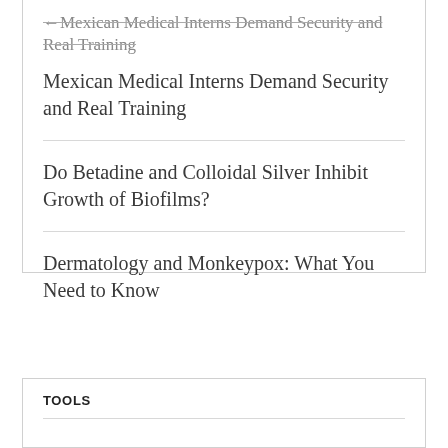←Mexican Medical Interns Demand Security and Real Training
Mexican Medical Interns Demand Security and Real Training
Do Betadine and Colloidal Silver Inhibit Growth of Biofilms?
Dermatology and Monkeypox: What You Need to Know
TOOLS